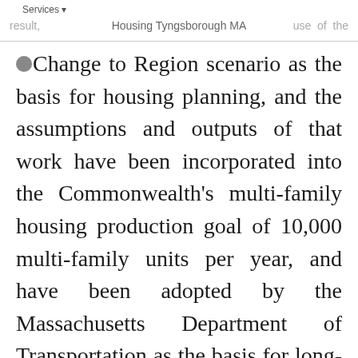Services ▾   Housing Tyngsborough MA   result,   use   of   the
Stronger Region scenario as the basis for housing planning, and the assumptions and outputs of that work have been incorporated into the Commonwealth's multi-family housing production goal of 10,000 multi-family units per year, and have been adopted by the Massachusetts Department of Transportation as the basis for long-term transportation planning.

With the aging of the Baby Boomers,